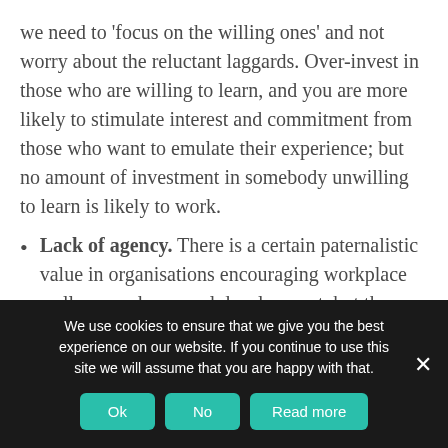we need to 'focus on the willing ones' and not worry about the reluctant laggards. Over-invest in those who are willing to learn, and you are more likely to stimulate interest and commitment from those who want to emulate their experience; but no amount of investment in somebody unwilling to learn is likely to work.
Lack of agency. There is a certain paternalistic value in organisations encouraging workplace wellness and personal development, but the responsibility for this must rest with the individual. If we start from the admission that
We use cookies to ensure that we give you the best experience on our website. If you continue to use this site we will assume that you are happy with that.